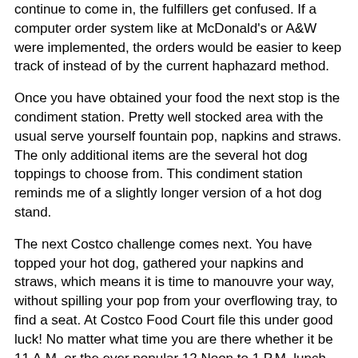continue to come in, the fulfillers get confused. If a computer order system like at McDonald's or A&W were implemented, the orders would be easier to keep track of instead of by the current haphazard method.
Once you have obtained your food the next stop is the condiment station. Pretty well stocked area with the usual serve yourself fountain pop, napkins and straws. The only additional items are the several hot dog toppings to choose from. This condiment station reminds me of a slightly longer version of a hot dog stand.
The next Costco challenge comes next. You have topped your hot dog, gathered your napkins and straws, which means it is time to manouvre your way, without spilling your pop from your overflowing tray, to find a seat. At Costco Food Court file this under good luck! No matter what time you are there whether it be 11 A.M. or the ever popular 12 Noon to 1 P.M. lunch our, you are pretty well out of luck. The lack of seating even at the non busy times is appalling. There just is not enough tables to fulfill customer demand.
We have examined many of the concerns with the layout of...